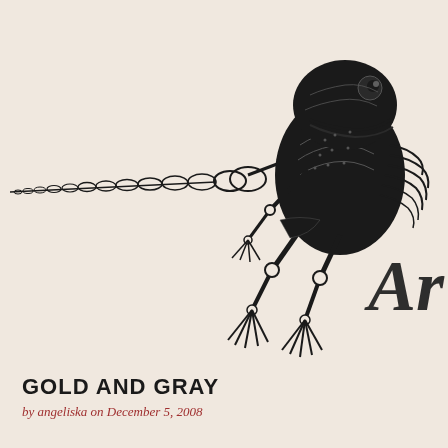[Figure (illustration): Detailed black ink illustration of a frog skeleton on a cream/beige background. The skeleton shows the frog's skull and body on the right side, with a long bony tail/spine extending to the left. The frog's hind legs are visible at the bottom. Decorative gothic/ornate letters 'Ar' appear on the right side of the image overlapping the skeleton.]
GOLD AND GRAY
by angeliska on December 5, 2008